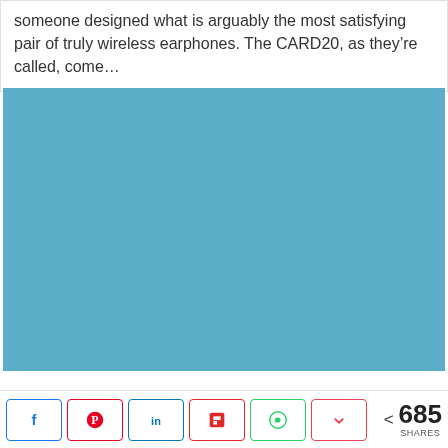someone designed what is arguably the most satisfying pair of truly wireless earphones. The CARD20, as they’re called, come…
[Figure (photo): A solid light blue/teal rectangular image placeholder]
< 685 SHARES — Social share buttons: Facebook, Pinterest, LinkedIn, Flipboard, WhatsApp, Pocket